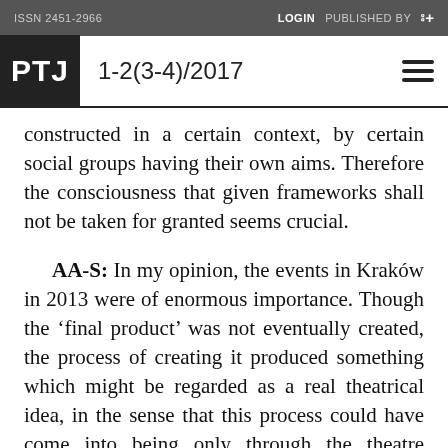ISSN 2451-2966   LOGIN   PUBLISHED BY
PTJ  1-2(3-4)/2017
constructed in a certain context, by certain social groups having their own aims. Therefore the consciousness that given frameworks shall not be taken for granted seems crucial.
AA-S: In my opinion, the events in Kraków in 2013 were of enormous importance. Though the ‘final product’ was not eventually created, the process of creating it produced something which might be regarded as a real theatrical idea, in the sense that this process could have come into being only through the theatre medium or, even more to the point, only in that particular